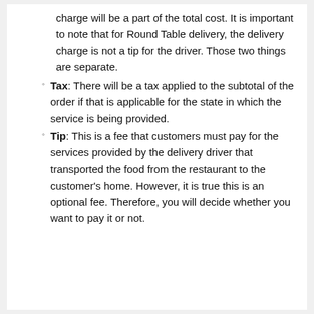charge will be a part of the total cost. It is important to note that for Round Table delivery, the delivery charge is not a tip for the driver. Those two things are separate.
Tax: There will be a tax applied to the subtotal of the order if that is applicable for the state in which the service is being provided.
Tip: This is a fee that customers must pay for the services provided by the delivery driver that transported the food from the restaurant to the customer's home. However, it is true this is an optional fee. Therefore, you will decide whether you want to pay it or not.